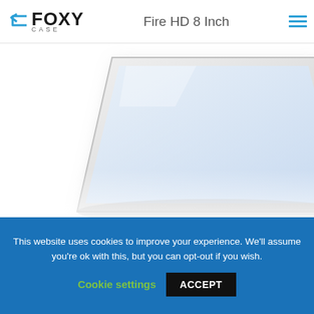FOXY CASE — Fire HD 8 Inch
[Figure (photo): Partial view of an Amazon Fire HD 8 inch tablet case, showing the tablet from a bottom-angled view with a white/light gray case]
PC Plastic Marble Patterned Slim Case For Amazon
(0) $9.99 $8.99
This website uses cookies to improve your experience. We'll assume you're ok with this, but you can opt-out if you wish.
Cookie settings  ACCEPT